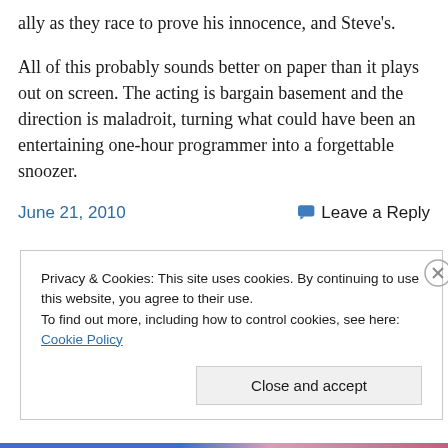ally as they race to prove his innocence, and Steve's.
All of this probably sounds better on paper than it plays out on screen. The acting is bargain basement and the direction is maladroit, turning what could have been an entertaining one-hour programmer into a forgettable snoozer.
June 21, 2010
Leave a Reply
Privacy & Cookies: This site uses cookies. By continuing to use this website, you agree to their use.
To find out more, including how to control cookies, see here: Cookie Policy
Close and accept